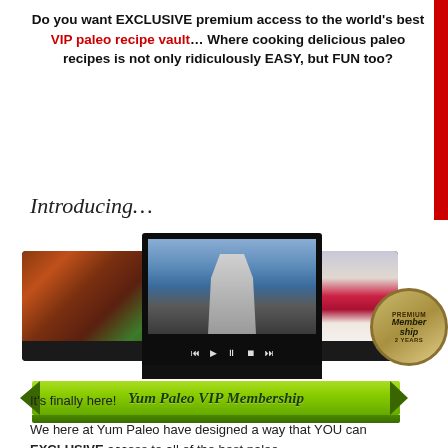Do you want EXCLUSIVE premium access to the world's best VIP paleo recipe vault… Where cooking delicious paleo recipes is not only ridiculously EASY, but FUN too?
Introducing…
[Figure (illustration): Composite image of three screens showing paleo food and a chef cooking, with a green ribbon banner reading 'Yum Paleo VIP Membership' and a gold premium membership badge for 2 years.]
It's finally here!
We here at Yum Paleo have designed a way that YOU can EXCLUSIVE access to all of the best paleo